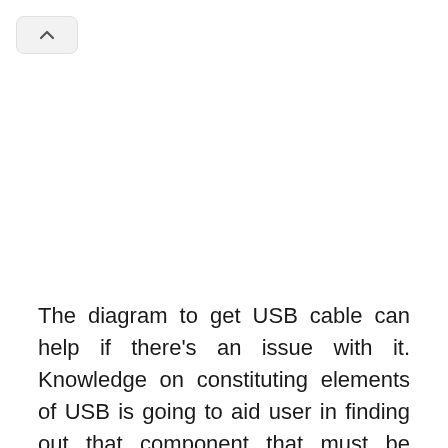[Figure (other): Navigation back button with upward chevron arrow, shown as a rounded rectangle UI element in the top-left corner]
The diagram to get USB cable can help if there's an issue with it. Knowledge on constituting elements of USB is going to aid user in finding out that component that must be adjusted. For crafty users that want to build their particular USBs, this